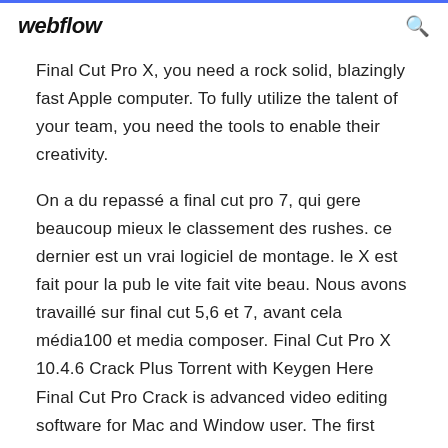webflow
Final Cut Pro X, you need a rock solid, blazingly fast Apple computer. To fully utilize the talent of your team, you need the tools to enable their creativity.
On a du repassé a final cut pro 7, qui gere beaucoup mieux le classement des rushes. ce dernier est un vrai logiciel de montage. le X est fait pour la pub le vite fait vite beau. Nous avons travaillé sur final cut 5,6 et 7, avant cela média100 et media composer. Final Cut Pro X 10.4.6 Crack Plus Torrent with Keygen Here Final Cut Pro Crack is advanced video editing software for Mac and Window user. The first